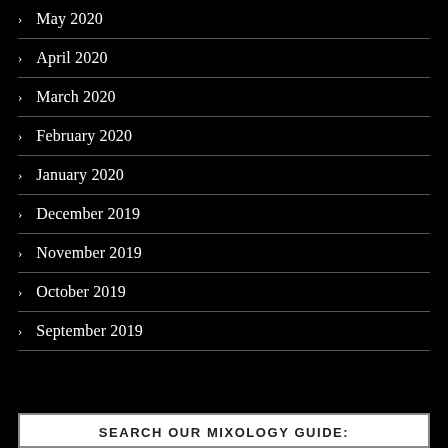May 2020
April 2020
March 2020
February 2020
January 2020
December 2019
November 2019
October 2019
September 2019
SEARCH OUR MIXOLOGY GUIDE: